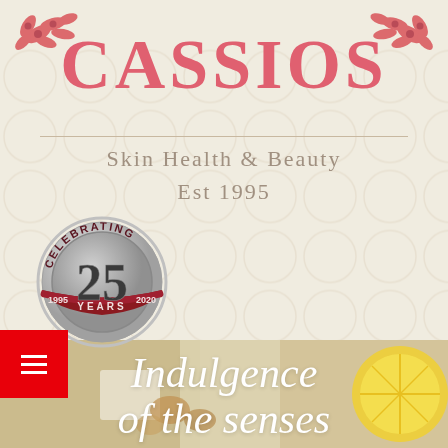[Figure (logo): Floral/leaf decorative element top-left corner in pink/red]
CASSIOS
[Figure (logo): Floral/leaf decorative element top-right corner in pink/red]
Skin Health & Beauty
Est 1995
[Figure (logo): Circular 25th anniversary badge: 'Celebrating 25 Years 1995 2020' in silver and dark red]
[Figure (photo): Bottom photo section showing spa/beauty products with lemon slices, warm tones]
Indulgence of the senses